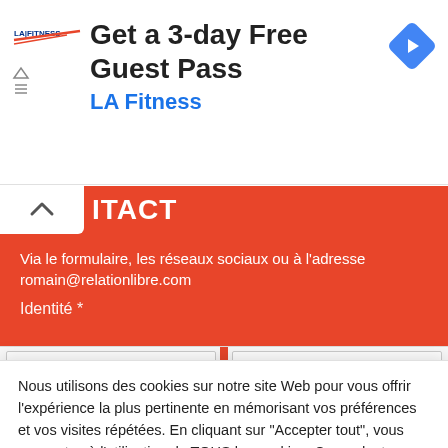[Figure (screenshot): LA Fitness advertisement banner with logo, 'Get a 3-day Free Guest Pass' text, blue navigation arrow icon]
ITACT (partial: CONTACT)
Via le formulaire, les réseaux sociaux ou à l'adresse romain@relationlibre.com
Identité *
Prénom
Nom
Nous utilisons des cookies sur notre site Web pour vous offrir l'expérience la plus pertinente en mémorisant vos préférences et vos visites répétées. En cliquant sur "Accepter tout", vous consentez à l'utilisation de TOUS les cookies. Cependant, vous pouvez visiter "Paramètres des cookies" pour fournir un consentement contrôlé.
Cookie Settings
Tout accepter